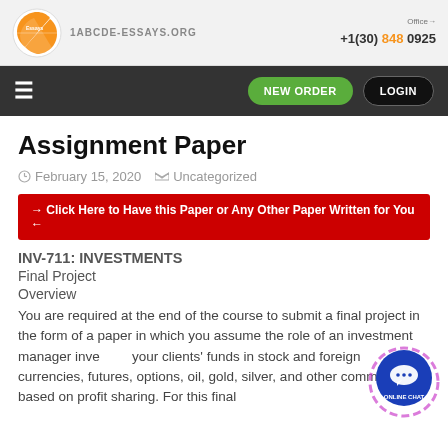[Figure (logo): Orange and white globe/swoosh logo with site branding and contact info in header]
ESSAYS.ORG | Call: +1 (30) 848 0925 | NEW ORDER | LOGIN
Assignment Paper
February 15, 2020   Uncategorized
→ Click Here to Have this Paper or Any Other Paper Written for You ←
INV-711: INVESTMENTS
Final Project
Overview
You are required at the end of the course to submit a final project in the form of a paper in which you assume the role of an investment manager investing your clients' funds in stock and foreign currencies, futures, options, oil, gold, silver, and other commodities based on profit sharing. For this final